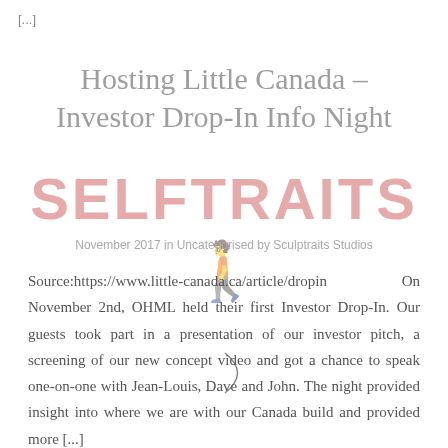[...]
Hosting Little Canada – Investor Drop-In Info Night
[Figure (logo): SELFTRAITS watermark logo in coral/salmon color with stylized human figure silhouette at the end]
November 2017 in Uncategorised by Sculptraits Studios
Source:https://www.little-canada.ca/article/dropin    On November 2nd, OHML held their first Investor Drop-In. Our guests took part in a presentation of our investor pitch, a screening of our new concept video and got a chance to speak one-on-one with Jean-Louis, Dave and John. The night provided insight into where we are with our Canada build and provided more [...]